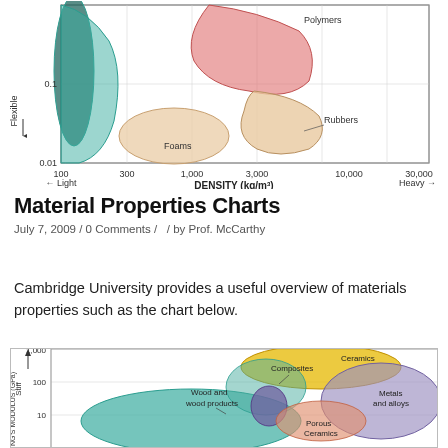[Figure (continuous-plot): Top portion of a materials property chart (Ashby chart) showing Young's Modulus vs Density. Visible regions include Polymers (salmon/red blob upper center), Rubbers (peach blob middle), Foams (peach lower-center-left), and a teal/green region on the left. Y-axis label 'Flexible' with downward arrow, value 0.1 and 0.01. X-axis shows DENSITY (kg/m3) with values 100, 300, 1,000, 3,000, 10,000, 30,000. Arrows labeled Light (left) and Heavy (right).]
Material Properties Charts
July 7, 2009  /  0 Comments  /   /  by Prof. McCarthy
Cambridge University provides a useful overview of materials properties such as the chart below.
[Figure (continuous-plot): Bottom portion of an Ashby chart showing Young's Modulus (GPa) vs Density. Visible material regions: Ceramics (yellow/gold blob upper right), Metals and alloys (large purple/lavender blob far right), Composites (labeled with arrow to teal/gold boundary region), Wood and wood products (teal/green large blob center-left), Porous Ceramics (salmon label lower center-right), and a small purple blob (center). Y-axis labeled YOUNG'S MODULUS (GPa) with Stiff arrow upward. Y-axis values: 10, 100, 1,000.]